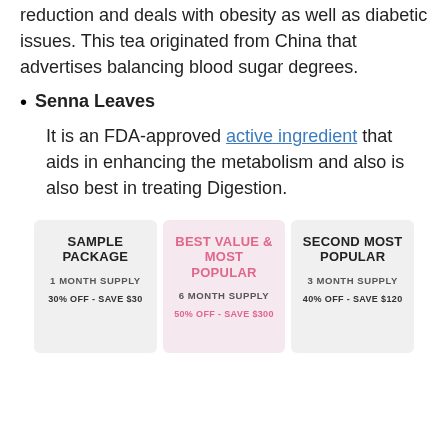reduction and deals with obesity as well as diabetic issues. This tea originated from China that advertises balancing blood sugar degrees.
Senna Leaves
It is an FDA-approved active ingredient that aids in enhancing the metabolism and also is also best in treating Digestion.
| SAMPLE PACKAGE | BEST VALUE & MOST POPULAR | SECOND MOST POPULAR |
| --- | --- | --- |
| 1 MONTH SUPPLY | 6 MONTH SUPPLY | 3 MONTH SUPPLY |
| 30% OFF - SAVE $30 | 50% OFF - SAVE $300 | 40% OFF - SAVE $120 |